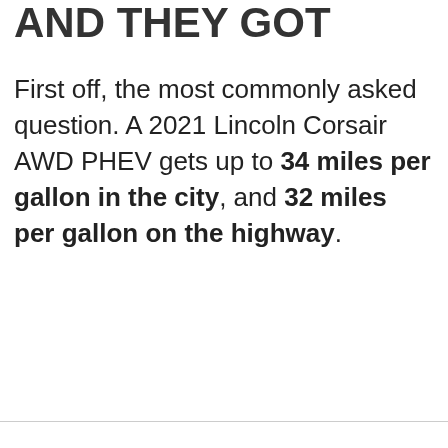AND THEY GOT
First off, the most commonly asked question. A 2021 Lincoln Corsair AWD PHEV gets up to 34 miles per gallon in the city, and 32 miles per gallon on the highway.